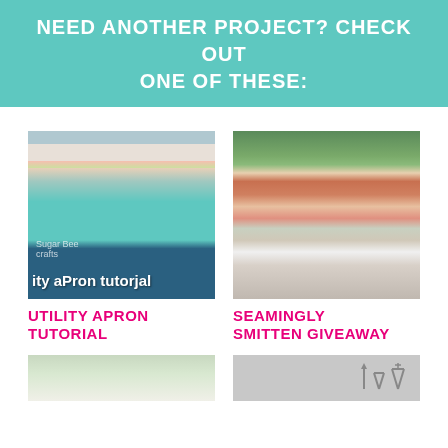NEED ANOTHER PROJECT? CHECK OUT ONE OF THESE:
[Figure (photo): Close-up photo of a colorful utility apron with teal, pink, green and floral fabrics, tied with a teal bow. Text overlay reads 'ity aPron tutorjal'. Watermark reads 'Sugar Bee crafts'.]
[Figure (photo): Photo of a smiling woman with dark hair standing outdoors near trees, wearing a colorful orange and purple floral sleeveless top and white pants.]
UTILITY APRON TUTORIAL
SEAMINGLY SMITTEN GIVEAWAY
[Figure (photo): Partially visible photo at bottom left, appears to show an outdoor garden scene.]
[Figure (photo): Partially visible photo at bottom right, appears to show decorative figures or silhouettes.]